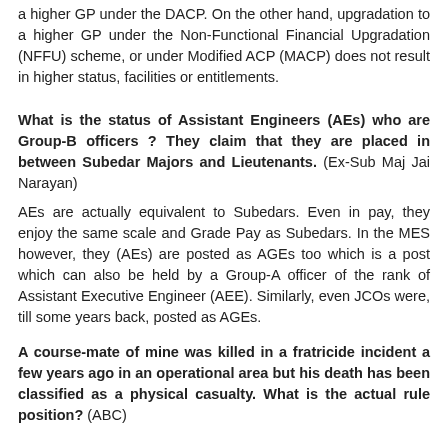a higher GP under the DACP. On the other hand, upgradation to a higher GP under the Non-Functional Financial Upgradation (NFFU) scheme, or under Modified ACP (MACP) does not result in higher status, facilities or entitlements.
What is the status of Assistant Engineers (AEs) who are Group-B officers ? They claim that they are placed in between Subedar Majors and Lieutenants. (Ex-Sub Maj Jai Narayan)
AEs are actually equivalent to Subedars. Even in pay, they enjoy the same scale and Grade Pay as Subedars. In the MES however, they (AEs) are posted as AGEs too which is a post which can also be held by a Group-A officer of the rank of Assistant Executive Engineer (AEE). Similarly, even JCOs were, till some years back, posted as AGEs.
A course-mate of mine was killed in a fratricide incident a few years ago in an operational area but his death has been classified as a physical casualty. What is the actual rule position? (ABC)